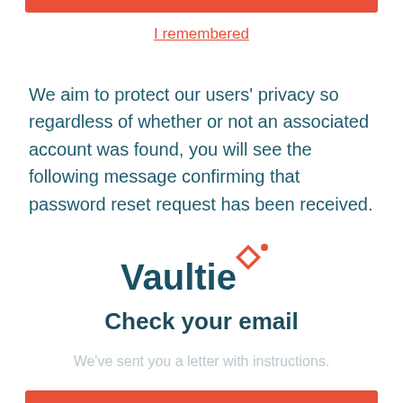I remembered
We aim to protect our users' privacy so regardless of whether or not an associated account was found, you will see the following message confirming that password reset request has been received.
[Figure (logo): Vaultie logo — stylized text 'Vaultie' in dark teal with an orange diamond/star icon above the letter 'e']
Check your email
We've sent you a letter with instructions.